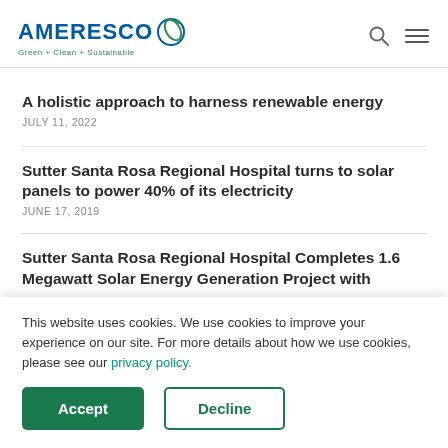[Figure (logo): Ameresco logo with tagline Green + Clean + Sustainable and a circular leaf icon]
A holistic approach to harness renewable energy
JULY 11, 2022
Sutter Santa Rosa Regional Hospital turns to solar panels to power 40% of its electricity
JUNE 17, 2019
Sutter Santa Rosa Regional Hospital Completes 1.6 Megawatt Solar Energy Generation Project with
This website uses cookies. We use cookies to improve your experience on our site. For more details about how we use cookies, please see our privacy policy.
Accept
Decline